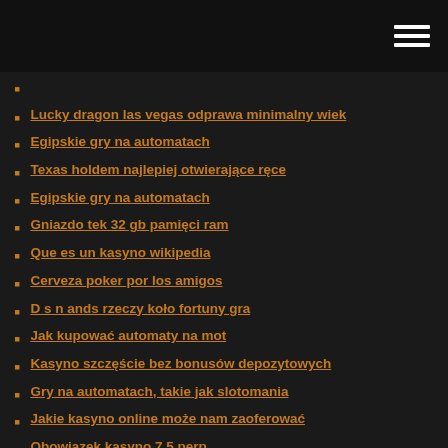Lucky dragon las vegas odprawa minimalny wiek
Egipskie gry na automatach
Texas holdem najlepiej otwierające ręce
Egipskie gry na automatach
Gniazdo tek 32 gb pamięci ram
Que es un kasyno wikipedia
Cerveza poker por los amigos
D s n ands rzeczy koło fortuny gra
Jak kupować automaty na mot
Kasyno szczęście bez bonusów depozytowych
Gry na automatach, takie jak slotomania
Jakie kasyno online może nam zaoferować
Obowiązek kasyno 7 5 perp